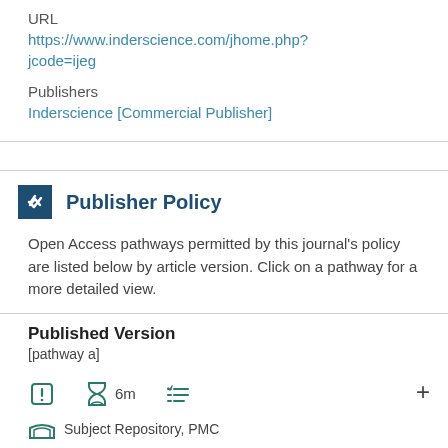URL
https://www.inderscience.com/jhome.php?jcode=ijeg
Publishers
Inderscience [Commercial Publisher]
Publisher Policy
Open Access pathways permitted by this journal's policy are listed below by article version. Click on a pathway for a more detailed view.
Published Version
[pathway a]
Subject Repository, PMC